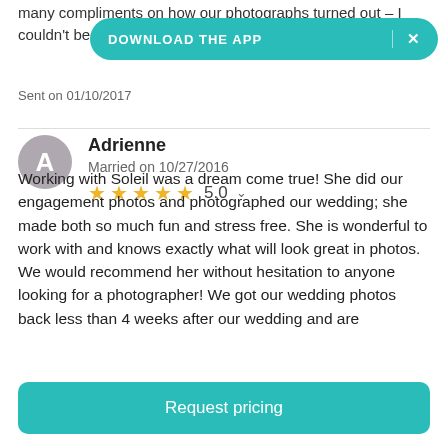many compliments on how our photographs turned out – I couldn't be
[Figure (screenshot): Teal 'DOWNLOAD THE APP' banner with X close button]
Sent on 01/10/2017
Adrienne
Married on 10/27/2016
★★★★★ 5.0
Working with Soleil was a dream come true! She did our engagement photos and photographed our wedding; she made both so much fun and stress free. She is wonderful to work with and knows exactly what will look great in photos. We would recommend her without hesitation to anyone looking for a photographer! We got our wedding photos back less than 4 weeks after our wedding and are
Request pricing